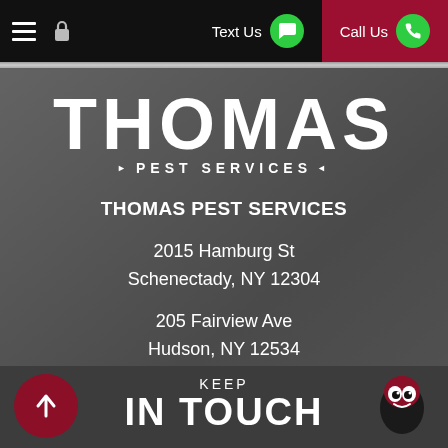Thomas Pest Services - Navigation bar with Text Us and Call Us buttons
[Figure (logo): Thomas Pest Services logo in white text on dark background]
THOMAS PEST SERVICES
2015 Hamburg St
Schenectady, NY 12304
205 Fairview Ave
Hudson, NY 12534
KEEP
IN TOUCH